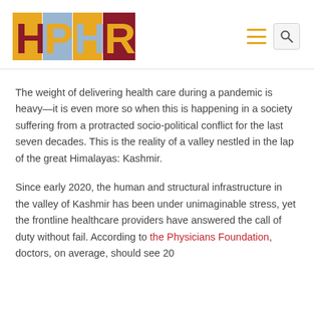HPHR
The weight of delivering health care during a pandemic is heavy—it is even more so when this is happening in a society suffering from a protracted socio-political conflict for the last seven decades. This is the reality of a valley nestled in the lap of the great Himalayas: Kashmir.
Since early 2020, the human and structural infrastructure in the valley of Kashmir has been under unimaginable stress, yet the frontline healthcare providers have answered the call of duty without fail. According to the Physicians Foundation, doctors, on average, should see 20